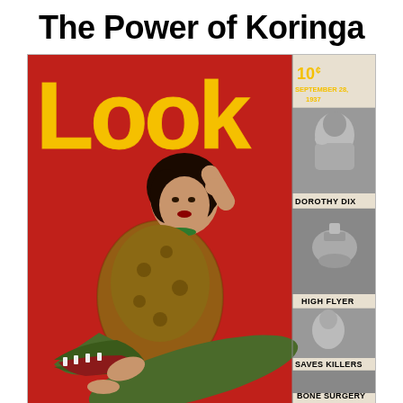The Power of Koringa
[Figure (photo): Cover of Look magazine, September 28, 1937, price 10 cents. Features a woman in a leopard-print outfit with dark curly hair and green jewelry, crouching over an alligator/crocodile with its mouth open, on a red background. The large yellow 'Look' logo is at top left. Right side panel shows smaller black-and-white photos with captions: 'DOROTHY DIX' (elderly woman), 'HIGH FLYER' (mechanical device/trophy), 'SAVES KILLERS' (man's face), 'BONE SURGERY' (medical procedure). Price '10¢' and date 'SEPTEMBER 28, 1937' shown at top right of cover.]